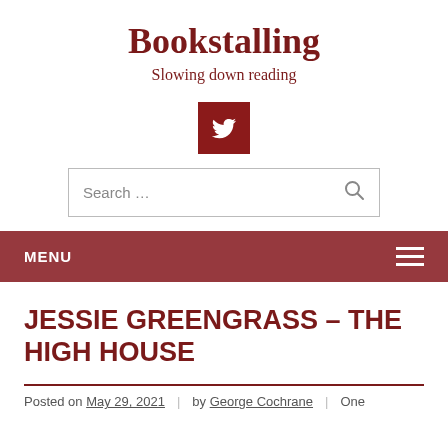Bookstalling
Slowing down reading
[Figure (logo): Dark red square button with white Twitter bird icon]
Search …
MENU
JESSIE GREENGRASS – THE HIGH HOUSE
Posted on May 29, 2021 | by George Cochrane | One